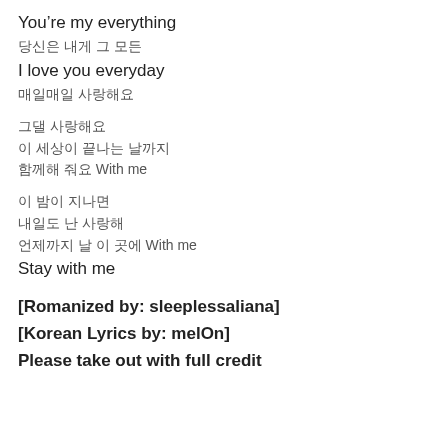You're my everything
당신은 내게 그 모든
I love you everyday
매일매일 사랑해요
그댈 사랑해요
이 세상이 끝나는 날까지
함께해 줘요 With me
이 밤이 지나면
내일도 난 사랑해
언제까지 날 이 곳에 With me
Stay with me
[Romanized by: sleeplessaliana]
[Korean Lyrics by: melOn]
Please take out with full credit